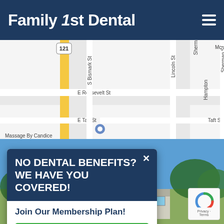Family 1st Dental
[Figure (map): Street map showing E Roosevelt St, E Taft St, S Bismark St, Lincoln St, Sherman St, Hampton, Taft St, route 121, with a location pin marker. Partial street name 'Massage By Candice' visible at bottom.]
[Figure (photo): Street-level photo of a suburban dental office building with blue sky, trees, and a parking area in front.]
NO DENTAL BENEFITS? WE HAVE YOU COVERED!
Join Our Membership Plan!
LEARN MORE